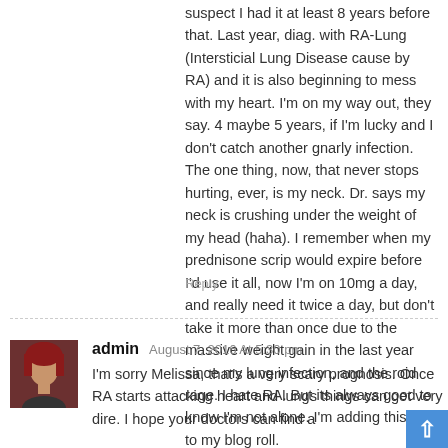suspect I had it at least 8 years before that. Last year, diag. with RA-Lung (Intersticial Lung Disease cause by RA) and it is also beginning to mess with my heart. I'm on my way out, they say. 4 maybe 5 years, if I'm lucky and I don't catch another gnarly infection. The one thing, now, that never stops hurting, ever, is my neck. Dr. says my neck is crushing under the weight of my head (haha). I remember when my prednisone scrip would expire before I'd use it all, now I'm on 10mg a day, and really need it twice a day, but don't take it more than once due to the massive weight gain in the last year since my lung infection, and the roid rage. I hate RA. But its always good to know I'm not alone. I'm adding this site to my blog roll.
Reply
admin  August 7, 2016 At 5:30 pm
I'm sorry Melissa, that's a very scary prognosis. Once RA starts attacking heart and lungs things can get very dire. I hope your doctors can find a